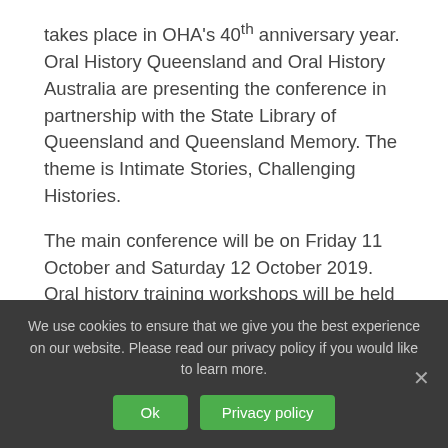takes place in OHA's 40th anniversary year. Oral History Queensland and Oral History Australia are presenting the conference in partnership with the State Library of Queensland and Queensland Memory. The theme is Intimate Stories, Challenging Histories.
The main conference will be on Friday 11 October and Saturday 12 October 2019. Oral history training workshops will be held at a Brisbane venue on Thursday 10 October. Following the conference, on Sunday 13 October, a selection of history walks and tours will introduce participants to the region's rich and diverse
We use cookies to ensure that we give you the best experience on our website. Please read our privacy policy if you would like to learn more.